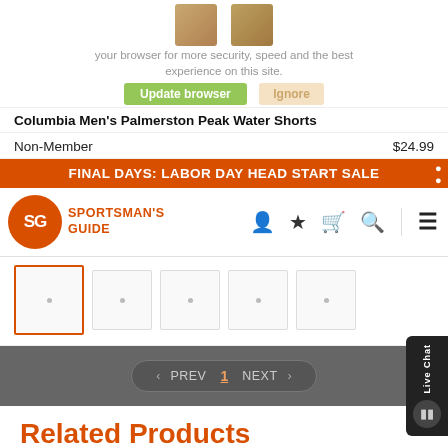your browser for more security, speed and the best experience on this site.
Update browser   Ignore
Columbia Men's Palmerston Peak Water Shorts
Non-Member   $24.99
FINAL DAYS: LABOR DAY HEAD START SALE
[Figure (logo): Sportsman's Guide logo with orange circle SG icon and text]
[Figure (screenshot): Row of product thumbnail images, first one selected with orange border]
< PREV  1  NEXT >
Related Products
[Figure (photo): Partial view of a product image at the bottom of the page]